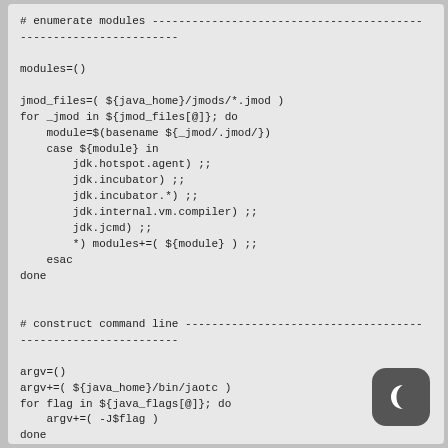[Figure (screenshot): Shell script code block showing module enumeration, command line construction, and execute sections with bash syntax]